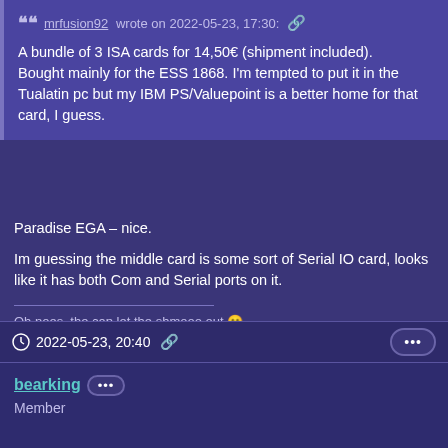❝❝ mrfusion92 wrote on 2022-05-23, 17:30: 🔗 A bundle of 3 ISA cards for 14,50€ (shipment included). Bought mainly for the ESS 1868. I'm tempted to put it in the Tualatin pc but my IBM PS/Valuepoint is a better home for that card, I guess.
Paradise EGA – nice.
Im guessing the middle card is some sort of Serial IO card, looks like it has both Com and Serial ports on it.
Oh noes, the cap let the shmooo out 😁
🕐 2022-05-23, 20:40 🔗
bearking (...) Member